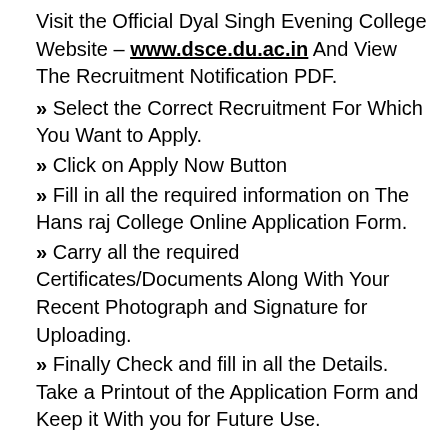Visit the Official Dyal Singh Evening College Website – www.dsce.du.ac.in And View The Recruitment Notification PDF.
» Select the Correct Recruitment For Which You Want to Apply.
» Click on Apply Now Button
» Fill in all the required information on The Hans raj College Online Application Form.
» Carry all the required Certificates/Documents Along With Your Recent Photograph and Signature for Uploading.
» Finally Check and fill in all the Details. Take a Printout of the Application Form and Keep it With you for Future Use.